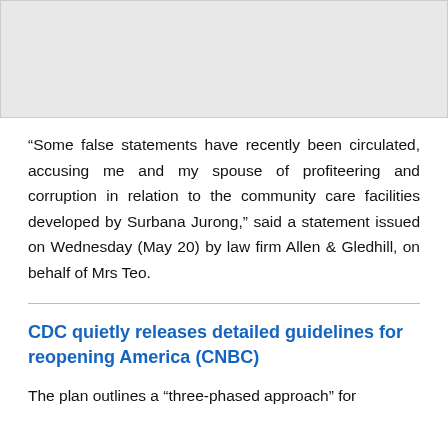[Figure (photo): Gray placeholder image area at the top of the page]
“Some false statements have recently been circulated, accusing me and my spouse of profiteering and corruption in relation to the community care facilities developed by Surbana Jurong,” said a statement issued on Wednesday (May 20) by law firm Allen & Gledhill, on behalf of Mrs Teo.
CDC quietly releases detailed guidelines for reopening America (CNBC)
The plan outlines a “three-phased approach” for